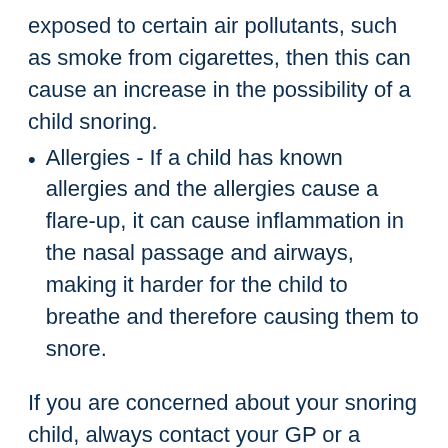exposed to certain air pollutants, such as smoke from cigarettes, then this can cause an increase in the possibility of a child snoring.
Allergies - If a child has known allergies and the allergies cause a flare-up, it can cause inflammation in the nasal passage and airways, making it harder for the child to breathe and therefore causing them to snore.
If you are concerned about your snoring child, always contact your GP or a paediatrician to ensure it is not something more serious.